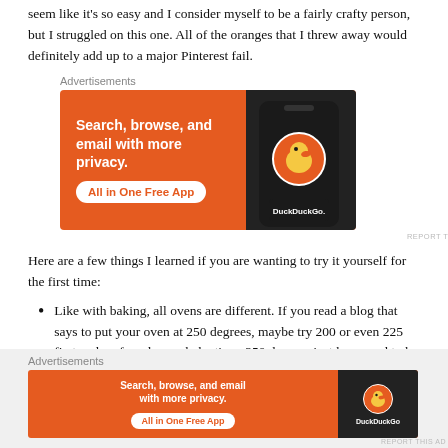seem like it's so easy and I consider myself to be a fairly crafty person, but I struggled on this one. All of the oranges that I threw away would definitely add up to a major Pinterest fail.
[Figure (other): DuckDuckGo advertisement banner: orange background with text 'Search, browse, and email with more privacy. All in One Free App' and DuckDuckGo logo on dark phone mockup]
Here are a few things I learned if you are wanting to try it yourself for the first time:
Like with baking, all ovens are different. If you read a blog that says to put your oven at 250 degrees, maybe try 200 or even 225 first and go for a longer bake time. 250 degrees just happened to be too hot for our oven.
[Figure (other): DuckDuckGo advertisement banner (smaller version): orange background with text 'Search, browse, and email with more privacy. All in One Free App' and DuckDuckGo logo]